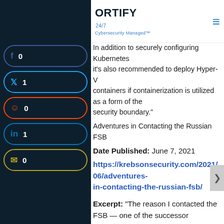ORTIFY 247 Cybersecurity Managed
In addition to securely configuring Kubernetes it's also recommended to deploy Hyper-V containers if containerization is utilized as a form of the security boundary.
Adventures in Contacting the Russian FSB
Date Published: June 7, 2021
https://krebsonsecurity.com/2021/06/adventures-in-contacting-the-russian-fsb/
Excerpt: “The reason I contacted the FSB — one of the successor agencies to the Russian KGB — ironically enough had to do with security concerns raised by an infamous Russian hacker about the FSB’s own preferred